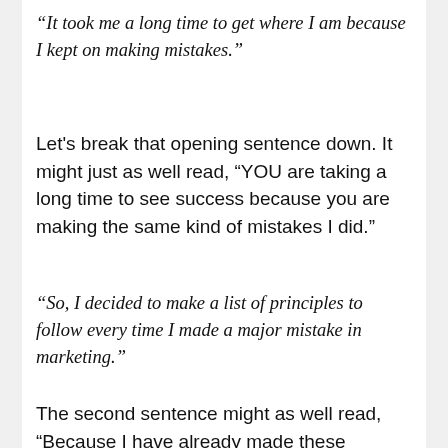“It took me a long time to get where I am because I kept on making mistakes.”
Let’s break that opening sentence down. It might just as well read, “YOU are taking a long time to see success because you are making the same kind of mistakes I did.”
“So, I decided to make a list of principles to follow every time I made a major mistake in marketing.”
The second sentence might as well read, “Because I have already made these